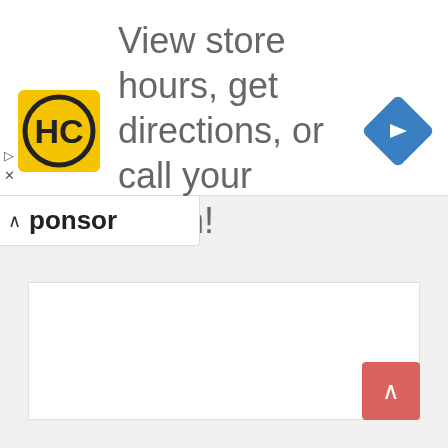[Figure (screenshot): Advertisement banner for a hair salon directory. Shows the HC (Hair Club) logo in yellow square, text 'View store hours, get directions, or call your salon!', and a blue diamond navigation icon on the right.]
ponsor
[Figure (screenshot): Scroll-to-top button (red/salmon colored square with upward caret arrow) in bottom right corner of white content area.]